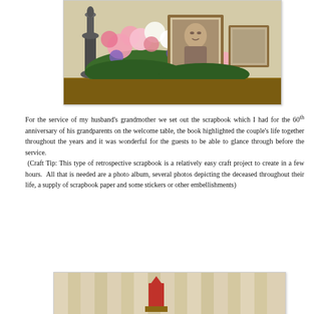[Figure (photo): A floral arrangement on a table with pink, yellow, and white flowers, framed photographs of a person in the center, and a decorative vase on the left — set up as a memorial display.]
For the service of my husband's grandmother we set out the scrapbook which I had for the 60th anniversary of his grandparents on the welcome table, the book highlighted the couple's life together throughout the years and it was wonderful for the guests to be able to glance through before the service.  (Craft Tip: This type of retrospective scrapbook is a relatively easy craft project to create in a few hours.  All that is needed are a photo album, several photos depicting the deceased throughout their life, a supply of scrapbook paper and some stickers or other embellishments)
[Figure (photo): A partial view of another photo showing a room interior with striped wallpaper or curtains and what appears to be a decorative display or arrangement.]